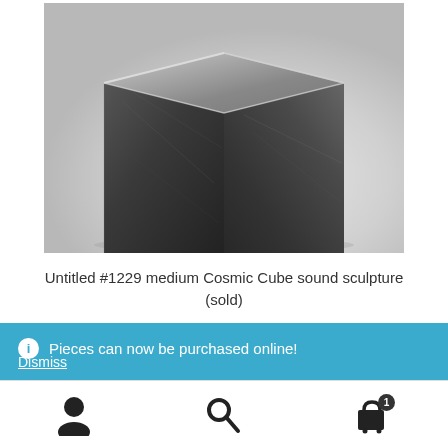[Figure (photo): Close-up photo of a dark metallic cube sculpture with textured surface, shot against a light gray/white background]
Untitled #1229 medium Cosmic Cube sound sculpture (sold)
Pieces can now be purchased online!
Dismiss